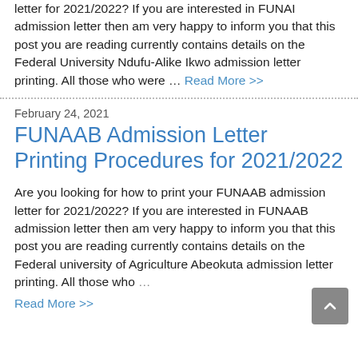Are you looking for how to print your FUNAI admission letter for 2021/2022? If you are interested in FUNAI admission letter then am very happy to inform you that this post you are reading currently contains details on the Federal University Ndufu-Alike Ikwo admission letter printing. All those who were … Read More >>
February 24, 2021
FUNAAB Admission Letter Printing Procedures for 2021/2022
Are you looking for how to print your FUNAAB admission letter for 2021/2022? If you are interested in FUNAAB admission letter then am very happy to inform you that this post you are reading currently contains details on the Federal university of Agriculture Abeokuta admission letter printing. All those who … Read More >>